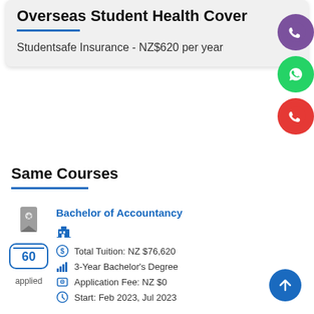Overseas Student Health Cover
Studentsafe Insurance - NZ$620 per year
Same Courses
Bachelor of Accountancy
Total Tuition: NZ $76,620
3-Year Bachelor's Degree
Application Fee: NZ $0
Start: Feb 2023, Jul 2023